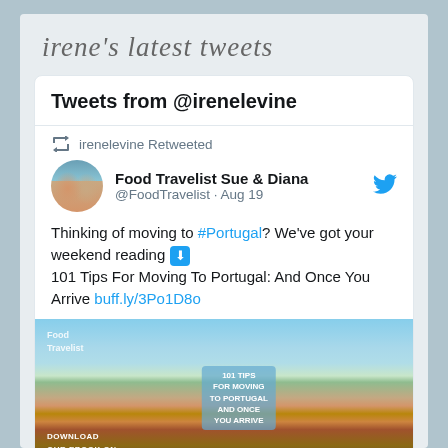irene's latest tweets
Tweets from @irenelevine
irenelevine Retweeted
Food Travelist Sue & Diana @FoodTravelist · Aug 19
Thinking of moving to #Portugal? We've got your weekend reading ⬇ 101 Tips For Moving To Portugal: And Once You Arrive buff.ly/3Po1D8o
[Figure (photo): Portugal coastal town photo with ebook download promotional overlay]